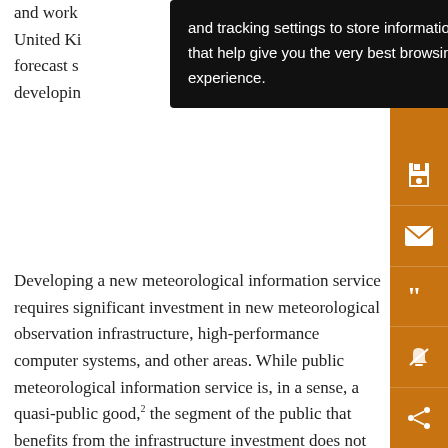and work… the United Ki… en forecast s… developing…
and tracking settings to store information that help give you the very best browsing experience.
Developing a new meteorological information service requires significant investment in new meteorological observation infrastructure, high-performance computer systems, and other areas. While public meteorological information service is, in a sense, a quasi-public good,² the segment of the public that benefits from the infrastructure investment does not participate in the investment process (Anaman et al. 1995). Therefore, in the situation that most countries provide public meteorological information services by a government-sponsored institution, government has a crucial role in the development and implementation of a new meteorological